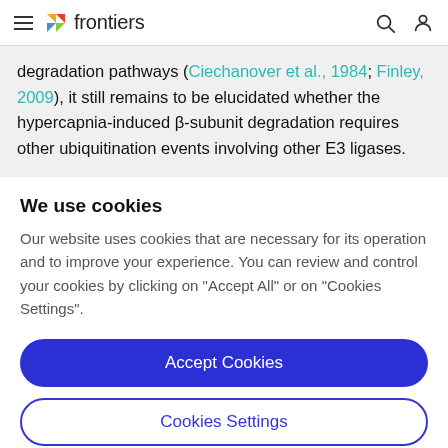frontiers
degradation pathways (Ciechanover et al., 1984; Finley, 2009), it still remains to be elucidated whether the hypercapnia-induced β-subunit degradation requires other ubiquitination events involving other E3 ligases.
We use cookies
Our website uses cookies that are necessary for its operation and to improve your experience. You can review and control your cookies by clicking on "Accept All" or on "Cookies Settings".
Accept Cookies
Cookies Settings